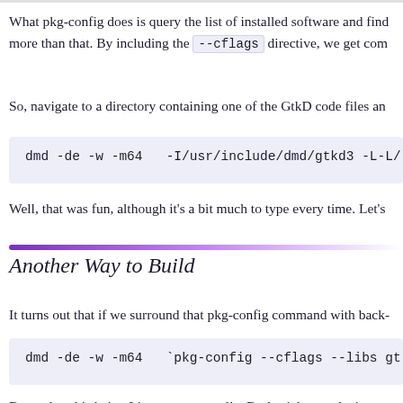What pkg-config does is query the list of installed software and find more than that. By including the --cflags directive, we get com
So, navigate to a directory containing one of the GtkD code files an
dmd -de -w -m64   -I/usr/include/dmd/gtkd3 -L-L/
Well, that was fun, although it's a bit much to type every time. Let's
Another Way to Build
It turns out that if we surround that pkg-config command with back-
dmd -de -w -m64   `pkg-config --cflags --libs gt
Better, but this being Linux, we can pull a Bash trick to make it eve